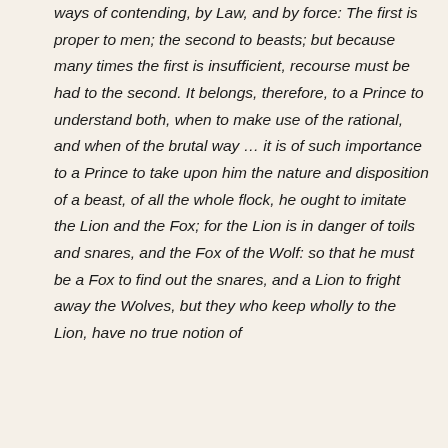ways of contending, by Law, and by force: The first is proper to men; the second to beasts; but because many times the first is insufficient, recourse must be had to the second. It belongs, therefore, to a Prince to understand both, when to make use of the rational, and when of the brutal way … it is of such importance to a Prince to take upon him the nature and disposition of a beast, of all the whole flock, he ought to imitate the Lion and the Fox; for the Lion is in danger of toils and snares, and the Fox of the Wolf: so that he must be a Fox to find out the snares, and a Lion to fright away the Wolves, but they who keep wholly to the Lion, have no true notion of